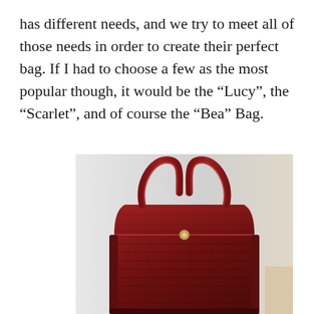has different needs, and we try to meet all of those needs in order to create their perfect bag. If I had to choose a few as the most popular though, it would be the “Lucy”, the “Scarlet”, and of course the “Bea” Bag.
[Figure (photo): A red crocodile-embossed leather handbag (the 'Bea' Bag) with two top handles, photographed against a light grey/white background.]